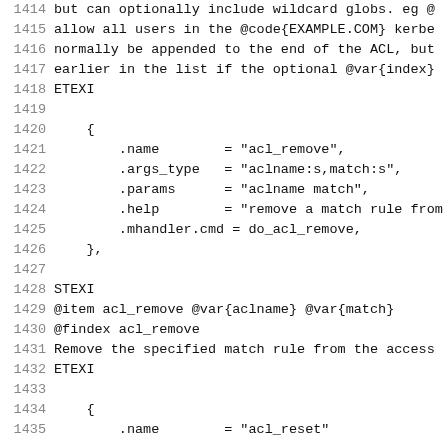1414  but can optionally include wildcard globs. eg @
1415  allow all users in the @code{EXAMPLE.COM} kerbe
1416  normally be appended to the end of the ACL, but
1417  earlier in the list if the optional @var{index}
1418  ETEXI
1419
1420      {
1421          .name       = "acl_remove",
1422          .args_type  = "aclname:s,match:s",
1423          .params     = "aclname match",
1424          .help       = "remove a match rule from
1425          .mhandler.cmd = do_acl_remove,
1426      },
1427
1428  STEXI
1429  @item acl_remove @var{aclname} @var{match}
1430  @findex acl_remove
1431  Remove the specified match rule from the access
1432  ETEXI
1433
1434      {
1435      .name       = "acl_reset"